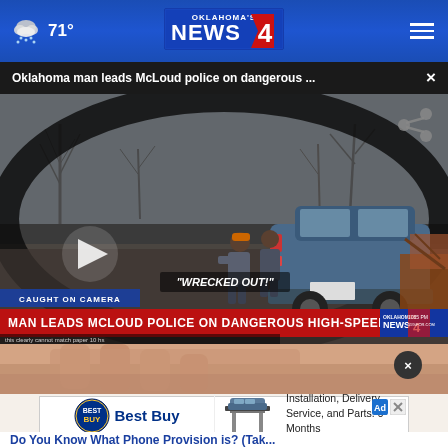Oklahoma's News 4 — 71° weather
Oklahoma man leads McLoud police on dangerous ... ×
[Figure (screenshot): Dashcam video still showing a blue hatchback car stopped on a rural road with police officers nearby, bare trees and overcast sky background. Lower banner reads 'CAUGHT ON CAMERA' and 'MAN LEADS MCLOUD POLICE ON DANGEROUS HIGH-SPEED CHASE'. Center text says "WRECKED OUT!". Play button visible on left. Oklahoma's News 4 logo at lower right.]
[Figure (photo): Close-up photo of a hand with skin texture, partially visible at bottom of page.]
Best Buy Automotive Equipment — Installation, Delivery, Service, and Parts. 6-Months No Interest Financing.
Do You Know What Phone Provision is? (Take...